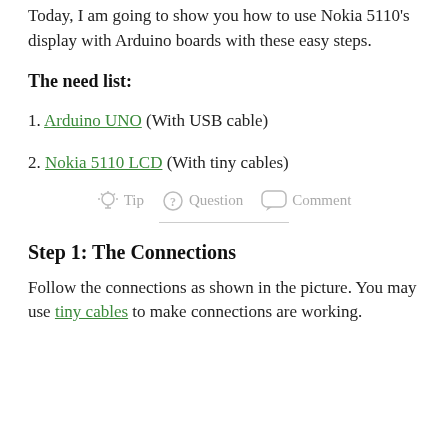Today, I am going to show you how to use Nokia 5110's display with Arduino boards with these easy steps.
The need list:
1. Arduino UNO (With USB cable)
2. Nokia 5110 LCD (With tiny cables)
Tip  Question  Comment
Step 1: The Connections
Follow the connections as shown in the picture. You may use tiny cables to make connections are working.